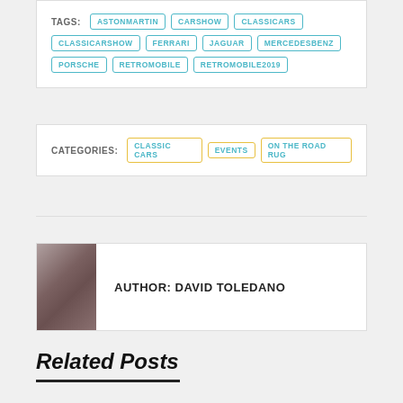TAGS: ASTONMARTIN CARSHOW CLASSICARS CLASSICARSHOW FERRARI JAGUAR MERCEDESBENZ PORSCHE RETROMOBILE RETROMOBILE2019
CATEGORIES: CLASSIC CARS EVENTS ON THE ROAD RUG
AUTHOR: DAVID TOLEDANO
Related Posts